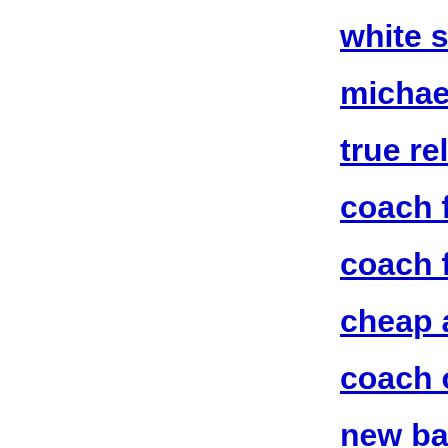white sox j...
michael ko...
true religio...
coach fact...
coach fact...
cheap air j...
coach outl...
new balan...
...